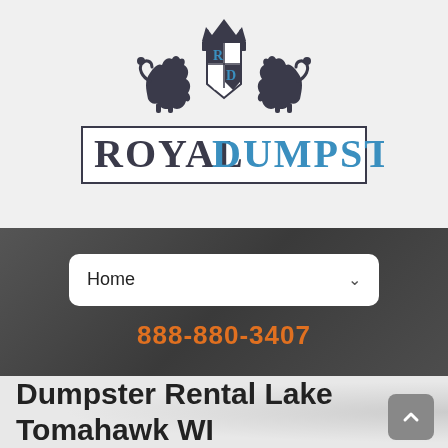[Figure (logo): Royal Dumpster logo with heraldic crest featuring two lions flanking a shield with R and D letters, crown on top, and 'ROYAL DUMPSTER' text below in dark and blue colors]
Home
888-880-3407
Dumpster Rental Lake Tomahawk WI